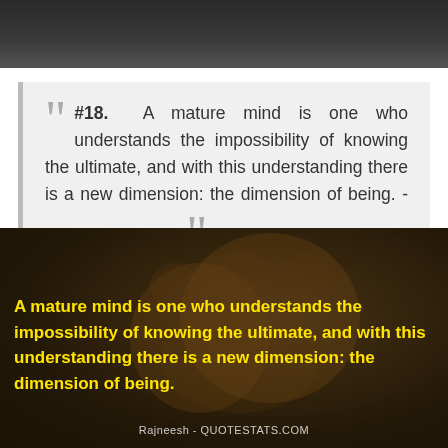[Figure (photo): Dark background image at the top of the page, dark gray/charcoal tones]
#18. A mature mind is one who understands the impossibility of knowing the ultimate, and with this understanding there is a new dimension: the dimension of being. - Author: Rajneesh
[Figure (photo): Dark background photo of a teddy bear with yellow bold quote text overlay: 'A mature mind is one who understands the impossibility of knowing the ultimate, and with this understanding there is a new dimension: the dimension of being.' and attribution: 'Rajneesh - QUOTESTATS.COM']